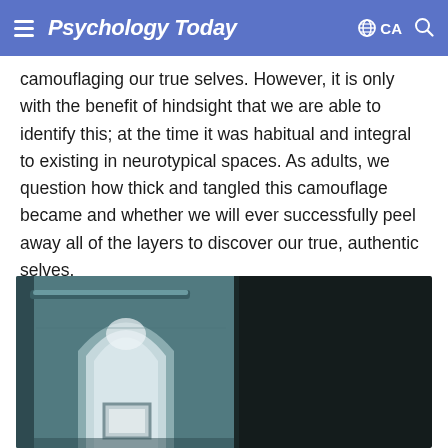Psychology Today · CA
camouflaging our true selves. However, it is only with the benefit of hindsight that we are able to identify this; at the time it was habitual and integral to existing in neurotypical spaces. As adults, we question how thick and tangled this camouflage became and whether we will ever successfully peel away all of the layers to discover our true, authentic selves.
[Figure (photo): Interior photo showing a teal-walled room with an arched mirror on the left side and a dark curtain or wall on the right side. The mirror appears to reflect a framed item. A ceiling light bar is visible at the top.]